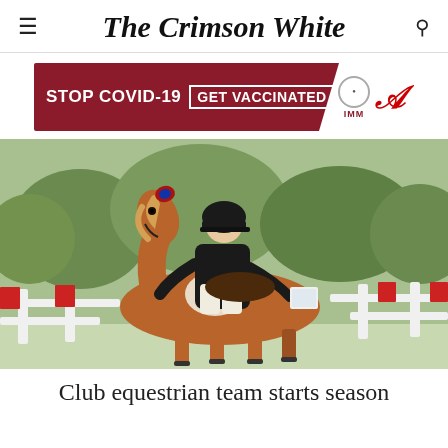The Crimson White
[Figure (infographic): Advertisement banner: STOP COVID-19 GET VACCINATED with IMM logo and University of Alabama A logo]
[Figure (photo): A horse and rider in equestrian show jumping attire, jumping over a fence with red and white poles. The horse is chestnut/pinto colored. Green trees in background. Rider wearing black jacket and helmet.]
Club equestrian team starts season